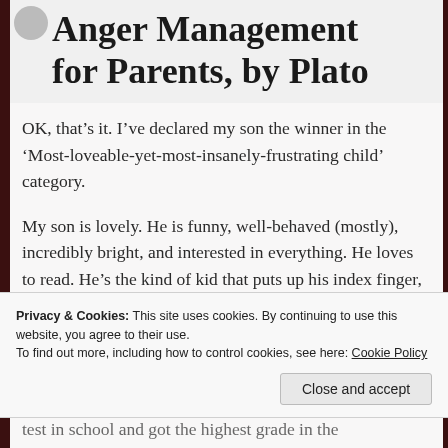Anger Management for Parents, by Plato
OK, that’s it. I’ve declared my son the winner in the ‘Most-loveable-yet-most-insanely-frustrating child’ category.
My son is lovely. He is funny, well-behaved (mostly), incredibly bright, and interested in everything. He loves to read. He’s the kind of kid that puts up his index finger, and then cites facts about anything from ancient Rome to dinosaurs to conditions on Mars. And when he’s in the mood,
test in school and got the highest grade in the
Privacy & Cookies: This site uses cookies. By continuing to use this website, you agree to their use.
To find out more, including how to control cookies, see here: Cookie Policy
Close and accept